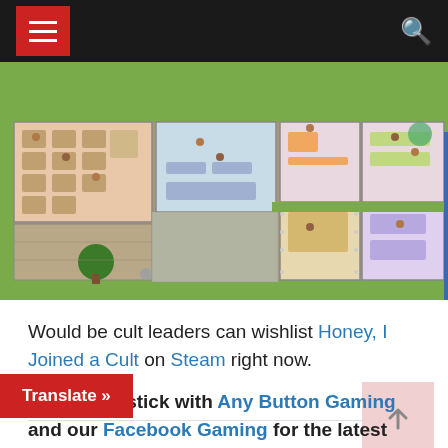Navigation header with hamburger menu and search icon
[Figure (screenshot): Top-down pixel art game screenshot showing a building interior with multiple rooms, characters, furniture, and outdoor green areas — from the game 'Honey, I Joined a Cult']
Would be cult leaders can wishlist Honey, I Joined a Cult on Steam right now.
Be sure to stick with Any Button Gaming and our Facebook Gaming for the latest gaming news,